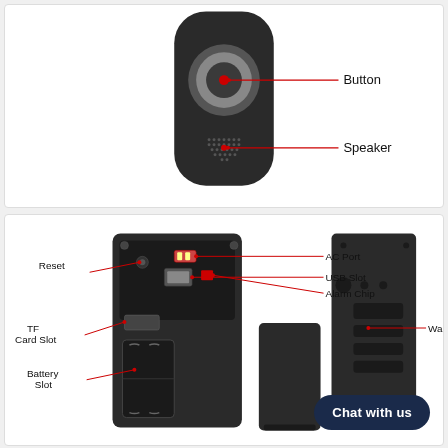[Figure (engineering-diagram): Front view of a video doorbell device (black, rounded rectangular body) showing a circular button at top center and a speaker grille below it. Red lines with text labels point to 'Button' and 'Speaker'.]
[Figure (engineering-diagram): Exploded/back view of video doorbell components: main unit back showing Reset, TF Card Slot, Battery Slot, AC Port, USB Slot, Alarm Chip labels with red arrows; a battery cover panel in center; and a wall panel on the right. A 'Chat with us' button overlays the bottom right.]